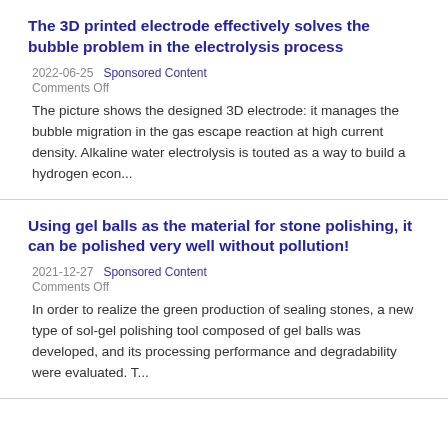The 3D printed electrode effectively solves the bubble problem in the electrolysis process
2022-06-25   Sponsored Content
Comments Off
The picture shows the designed 3D electrode: it manages the bubble migration in the gas escape reaction at high current density. Alkaline water electrolysis is touted as a way to build a hydrogen econ...
Using gel balls as the material for stone polishing, it can be polished very well without pollution!
2021-12-27   Sponsored Content
Comments Off
In order to realize the green production of sealing stones, a new type of sol-gel polishing tool composed of gel balls was developed, and its processing performance and degradability were evaluated. T...